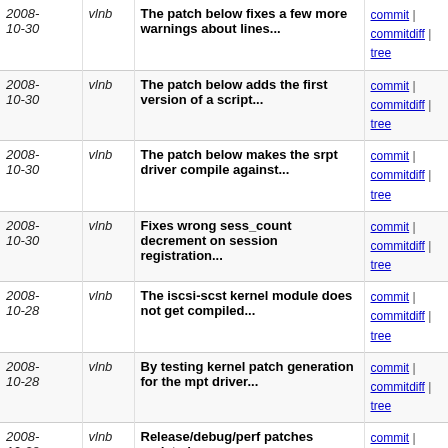| date | author | message | links |
| --- | --- | --- | --- |
| 2008-10-30 | vlnb | The patch below fixes a few more warnings about lines... | commit | commitdiff | tree |
| 2008-10-30 | vlnb | The patch below adds the first version of a script... | commit | commitdiff | tree |
| 2008-10-30 | vlnb | The patch below makes the srpt driver compile against... | commit | commitdiff | tree |
| 2008-10-30 | vlnb | Fixes wrong sess_count decrement on session registration... | commit | commitdiff | tree |
| 2008-10-28 | vlnb | The iscsi-scst kernel module does not get compiled... | commit | commitdiff | tree |
| 2008-10-28 | vlnb | By testing kernel patch generation for the mpt driver... | commit | commitdiff | tree |
| 2008-10-28 | vlnb | Release/debug/perf patches updated | commit | commitdiff | tree |
| 2008-10-28 | vlnb | Small improvement | commit | commitdiff | tree |
| 2008-10-28 | vlnb | Fixed accidentally enabled superfluous warnings. | commit | commitdiff | tree |
| 2008-10-25 | vlnb | Release/debug/perf patches updated + cosmetics in scst... | commit | commitdiff | tree |
| 2008-10-25 | vlnb | -Wno-missing-field-initializers added. Small cleanup. | commit | commitdiff | tree |
| 2008-10-25 | vlnb | Fixes 2 incorrectly used variables | commit | commitdiff | tree |
| 2008-10-24 | vlnb | A typo fixed | commit | commitdiff | tree |